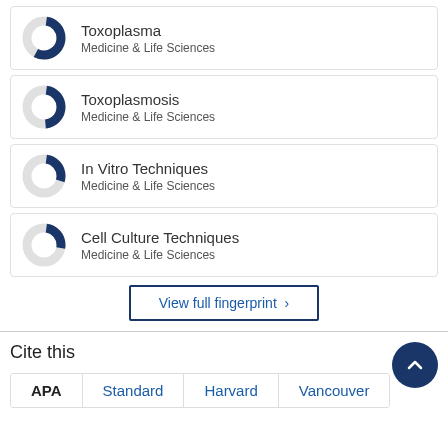[Figure (donut-chart): Donut chart with blue fill for Toxoplasma]
Toxoplasma
Medicine & Life Sciences
[Figure (donut-chart): Donut chart with blue fill for Toxoplasmosis]
Toxoplasmosis
Medicine & Life Sciences
[Figure (donut-chart): Donut chart with blue fill for In Vitro Techniques]
In Vitro Techniques
Medicine & Life Sciences
[Figure (donut-chart): Donut chart with blue fill for Cell Culture Techniques]
Cell Culture Techniques
Medicine & Life Sciences
View full fingerprint ›
Cite this
APA  Standard  Harvard  Vancouver